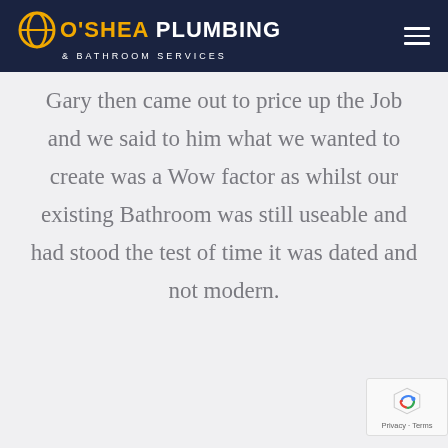[Figure (logo): O'Shea Plumbing & Bathroom Services logo with gold circular icon, white text on dark navy header, hamburger menu icon on right]
Gary then came out to price up the Job and we said to him what we wanted to create was a Wow factor as whilst our existing Bathroom was still useable and had stood the test of time it was dated and not modern.